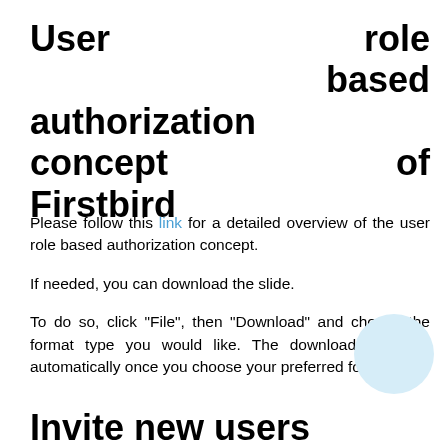User role based authorization concept of Firstbird
Please follow this link for a detailed overview of the user role based authorization concept.
If needed, you can download the slide.
To do so, click "File", then "Download" and choose the format type you would like. The download will start automatically once you choose your preferred format.
Invite new users